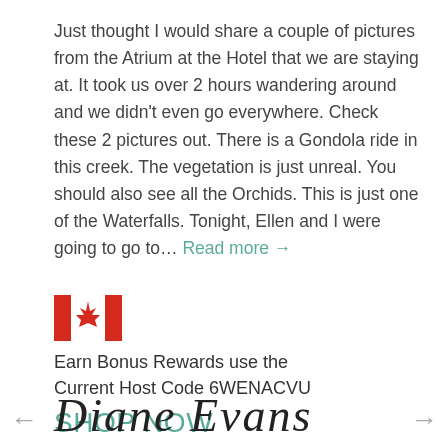Just thought I would share a couple of pictures from the Atrium at the Hotel that we are staying at. It took us over 2 hours wandering around and we didn't even go everywhere. Check these 2 pictures out. There is a Gondola ride in this creek. The vegetation is just unreal. You should also see all the Orchids. This is just one of the Waterfalls. Tonight, Ellen and I were going to go to... Read more →
[Figure (illustration): Canadian flag emoji/icon]
Earn Bonus Rewards use the Current Host Code 6WENACVU
SHOP NOW
Diane Evans